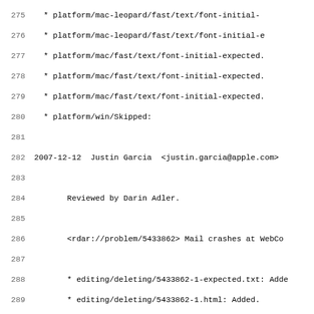Source code changelog/log file excerpt, lines 275-307
275 (partial)  * platform/mac-leopard/fast/text/font-initial-...
276  * platform/mac-leopard/fast/text/font-initial-e...
277  * platform/mac/fast/text/font-initial-expected....
278  * platform/mac/fast/text/font-initial-expected....
279  * platform/mac/fast/text/font-initial-expected....
280  * platform/win/Skipped:
281
282 2007-12-12  Justin Garcia  <justin.garcia@apple.com>
283
284        Reviewed by Darin Adler.
285
286        <rdar://problem/5433862> Mail crashes at WebCo...
287
288        * editing/deleting/5433862-1-expected.txt: Adde...
289        * editing/deleting/5433862-1.html: Added.
290        * editing/deleting/5433862-2.html: Added.
291        * platform/mac/editing/deleting/5433862-2-expec...
292        * platform/mac/editing/deleting/5433862-2-expec...
293
294 2007-12-12  Dan Bernstein  <mitz@apple.com>
295
296        Reviewed by John Sullivan.
297
298-299        - test for a bug in debug builds only where sel... / a popup selects the first item
300
301        * fast/forms/menulist-selection-reset-expected....
302        * fast/forms/menulist-selection-reset.html: Add...
303
304 2007-12-12  Beth Dakin  <bdakin@apple.com>
305
306        Reviewed by Niko.
307